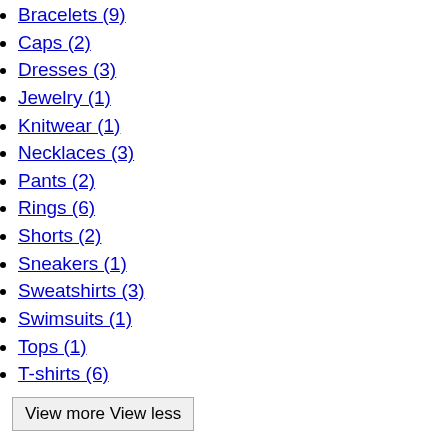Bracelets (9)
Caps (2)
Dresses (3)
Jewelry (1)
Knitwear (1)
Necklaces (3)
Pants (2)
Rings (6)
Shorts (2)
Sneakers (1)
Sweatshirts (3)
Swimsuits (1)
Tops (1)
T-shirts (6)
View more View less
Material
Denim (1)
Line
B (4)